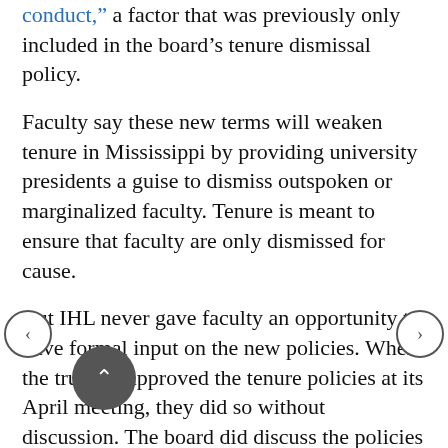conduct," a factor that was previously only included in the board's tenure dismissal policy.
Faculty say these new terms will weaken tenure in Mississippi by providing university presidents a guise to dismiss outspoken or marginalized faculty. Tenure is meant to ensure that faculty are only dismissed for cause.
But IHL never gave faculty an opportunity to have formal input on the new policies. When the trustees approved the tenure policies at its April meeting, they did so without discussion. The board did discuss the policies at its March board meeting, but the proposed revisions were not included on the agenda. The March meeting was held at Mississippi State University Riley Center in Meridian, an hour-and-a-